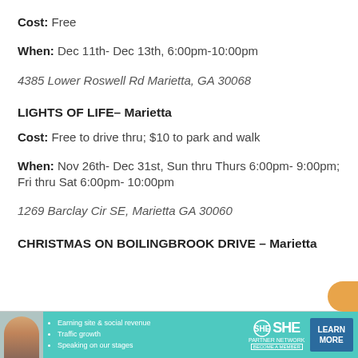Cost: Free
When: Dec 11th- Dec 13th, 6:00pm-10:00pm
4385 Lower Roswell Rd Marietta, GA 30068
LIGHTS OF LIFE– Marietta
Cost: Free to drive thru; $10 to park and walk
When: Nov 26th- Dec 31st, Sun thru Thurs 6:00pm- 9:00pm; Fri thru Sat 6:00pm- 10:00pm
1269 Barclay Cir SE, Marietta GA 30060
CHRISTMAS ON BOILINGBROOK DRIVE – Marietta
[Figure (infographic): Advertisement banner for SHE Partner Network with a woman's photo, bullet points about earning site & social revenue, traffic growth, speaking on stages, SHE logo, and a LEARN MORE button in blue.]